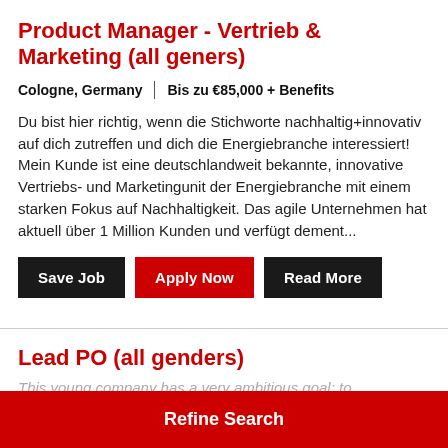Product Manager - Vertrieb & Marketing (all geners)
Cologne, Germany | Bis zu €85,000 + Benefits
Du bist hier richtig, wenn die Stichworte nachhaltig+innovativ auf dich zutreffen und dich die Energiebranche interessiert! Mein Kunde ist eine deutschlandweit bekannte, innovative Vertriebs- und Marketingunit der Energiebranche mit einem starken Fokus auf Nachhaltigkeit. Das agile Unternehmen hat aktuell über 1 Million Kunden und verfügt dement...
Save Job | Apply Now | Read More
Lead PO (all genders)
This young company has a very ambitious goal: to
Refine Search